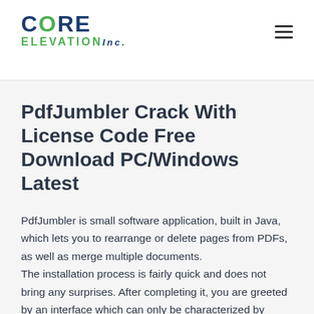[Figure (logo): Core Elevation Inc. logo with CORE in dark blue bold letters and ELEVATION in green bold letters, Inc. in italic blue script]
PdfJumbler Crack With License Code Free Download PC/Windows Latest
PdfJumbler is small software application, built in Java, which lets you to rearrange or delete pages from PDFs, as well as merge multiple documents.
The installation process is fairly quick and does not bring any surprises. After completing it, you are greeted by an interface which can only be characterized by simplicity